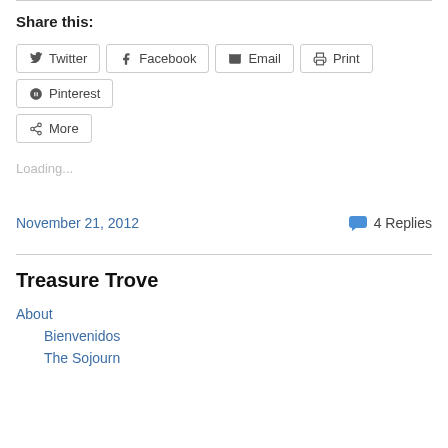Share this:
Twitter | Facebook | Email | Print | Pinterest | More
Loading...
November 21, 2012
4 Replies
Treasure Trove
About
Bienvenidos
The Sojourn